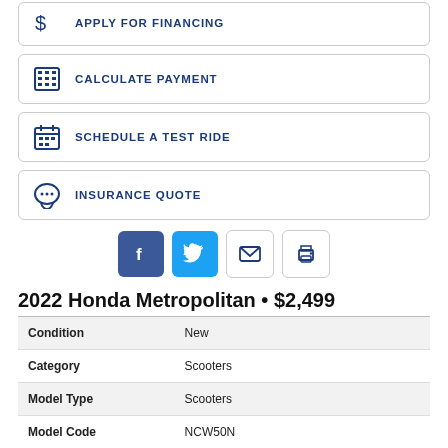APPLY FOR FINANCING
CALCULATE PAYMENT
SCHEDULE A TEST RIDE
INSURANCE QUOTE
[Figure (other): Social share buttons: Facebook, Twitter, Email, Print]
2022 Honda Metropolitan • $2,499
| Condition | New |
| Category | Scooters |
| Model Type | Scooters |
| Model Code | NCW50N |